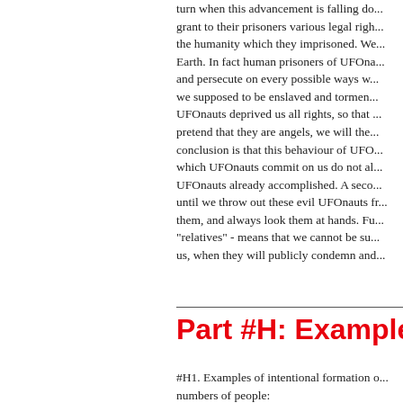turn when this advancement is falling do... grant to their prisoners various legal righ... the humanity which they imprisoned. We... Earth. In fact human prisoners of UFOna... and persecute on every possible ways w... we supposed to be enslaved and tormen... UFOnauts deprived us all rights, so that ... pretend that they are angels, we will the... conclusion is that this behaviour of UFO... which UFOnauts commit on us do not al... UFOnauts already accomplished. A seco... until we throw out these evil UFOnauts f... them, and always look them at hands. F... "relatives" - means that we cannot be su... us, when they will publicly condemn and...
Part #H: Example
#H1. Examples of intentional formation o... numbers of people:
Motto: When a landslin is initiated with...